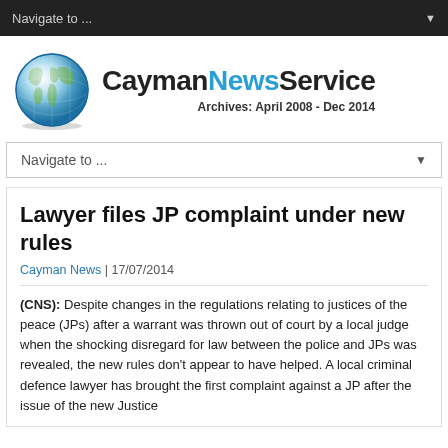Navigate to ...
[Figure (logo): CaymanNewsService globe logo with text 'CaymanNewsService Archives: April 2008 - Dec 2014']
Navigate to ...
Lawyer files JP complaint under new rules
Cayman News | 17/07/2014
(CNS): Despite changes in the regulations relating to justices of the peace (JPs) after a warrant was thrown out of court by a local judge when the shocking disregard for law between the police and JPs was revealed, the new rules don't appear to have helped. A local criminal defence lawyer has brought the first complaint against a JP after the issue of the new Justice